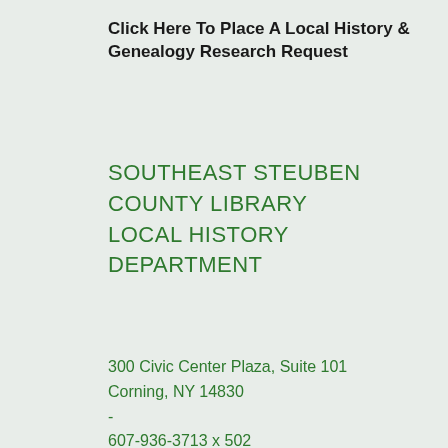Click Here To Place A Local History & Genealogy Research Request
SOUTHEAST STEUBEN COUNTY LIBRARY LOCAL HISTORY DEPARTMENT
300 Civic Center Plaza, Suite 101
Corning, NY 14830
-
607-936-3713 x 502